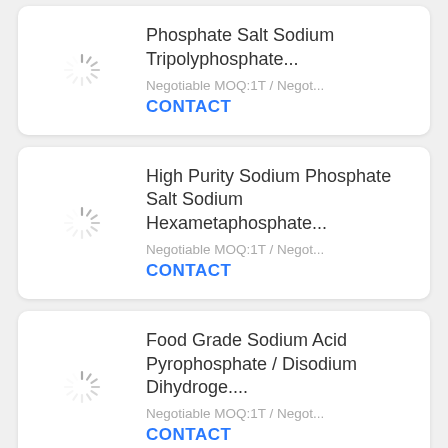[Figure (screenshot): Product listing card 1: Loading spinner image placeholder on left. Text on right: 'Phosphate Salt Sodium Tripolyphosphate...' with 'Negotiable MOQ:1T / Negot...' and 'CONTACT' button.]
[Figure (screenshot): Product listing card 2: Loading spinner image placeholder on left. Text on right: 'High Purity Sodium Phosphate Salt Sodium Hexametaphosphate...' with 'Negotiable MOQ:1T / Negot...' and 'CONTACT' button.]
[Figure (screenshot): Product listing card 3: Loading spinner image placeholder on left. Text on right: 'Food Grade Sodium Acid Pyrophosphate / Disodium Dihydroge....' with 'Negotiable MOQ:1T / Negot...' and 'CONTACT' button.]